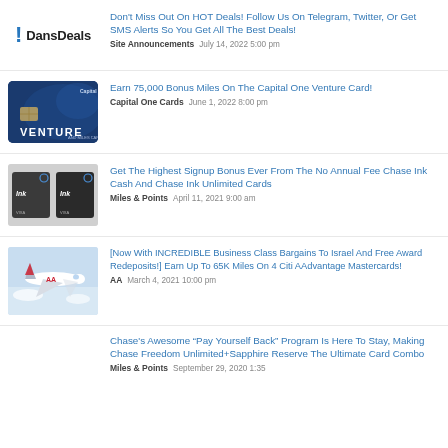[Figure (logo): DansDeals logo with blue exclamation mark icon]
Don't Miss Out On HOT Deals! Follow Us On Telegram, Twitter, Or Get SMS Alerts So You Get All The Best Deals!
Site Announcements   July 14, 2022 5:00 pm
[Figure (photo): Capital One Venture credit card on blue background]
Earn 75,000 Bonus Miles On The Capital One Venture Card!
Capital One Cards   June 1, 2022 8:00 pm
[Figure (photo): Two Chase Ink credit cards side by side]
Get The Highest Signup Bonus Ever From The No Annual Fee Chase Ink Cash And Chase Ink Unlimited Cards
Miles & Points   April 11, 2021 9:00 am
[Figure (photo): American Airlines plane in flight]
[Now With INCREDIBLE Business Class Bargains To Israel And Free Award Redeposits!] Earn Up To 65K Miles On 4 Citi AAdvantage Mastercards!
AA   March 4, 2021 10:00 pm
Chase's Awesome “Pay Yourself Back” Program Is Here To Stay, Making Chase Freedom Unlimited+Sapphire Reserve The Ultimate Card Combo
Miles & Points   September 29, 2020 1:35